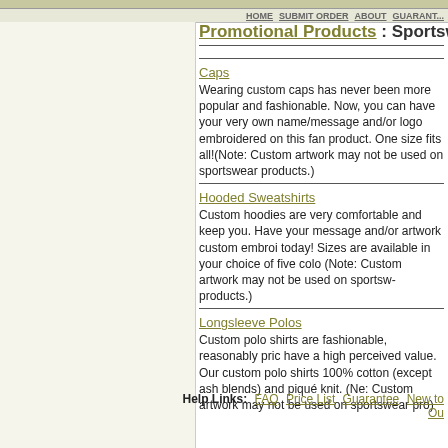Promotional Products : Sportswear
Caps
Wearing custom caps has never been more popular and fashionable. Now, you can have your very own name/message and/or logo embroidered on this fantastic product. One size fits all!(Note: Custom artwork may not be used on sportswear products.)
Hooded Sweatshirts
Custom hoodies are very comfortable and keep you warm. Have your message and/or artwork custom embroidered today! Sizes are available in your choice of five colors. (Note: Custom artwork may not be used on sportswear products.)
Longsleeve Polos
Custom polo shirts are fashionable, reasonably priced and have a high perceived value. Our custom polo shirts are 100% cotton (except ash blends) and piqué knit. (Note: Custom artwork may not be used on sportswear products.)
Help Links: FAQ  Price List  Guarantee  New to Our